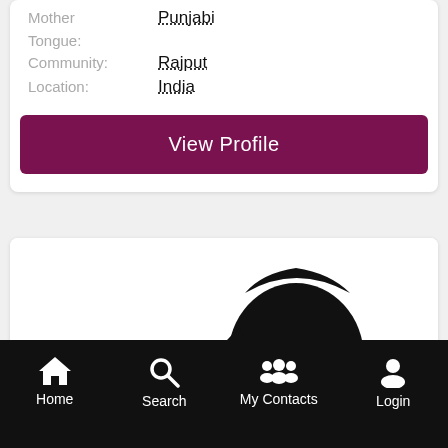Mother Tongue: Punjabi
Community: Rajput
Location: India
View Profile
[Figure (photo): Silhouette profile photo of a woman with dark hair, shown from shoulders up against a white background.]
Home  Search  My Contacts  Login